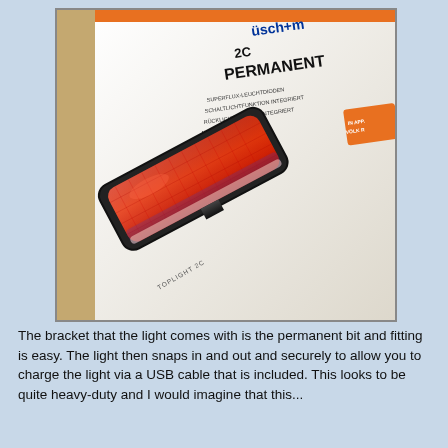[Figure (photo): A Busch+Müller Toplight 2C Permanent bicycle rear light (red lens, elongated rectangular shape) resting on its product packaging box. The packaging shows the brand name, model name '2C PERMANENT', and various feature bullets in German. The box is white with blue and orange accent colors.]
The bracket that the light comes with is the permanent bit and fitting is easy. The light then snaps in and out and securely to allow you to charge the light via a USB cable that is included. This looks to be quite heavy-duty and I would imagine that this...